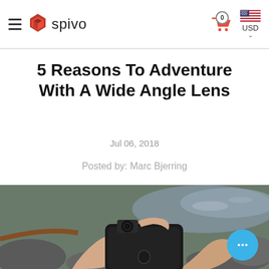spivo — navigation bar with hamburger menu, cart (0), USD currency selector
5 Reasons To Adventure With A Wide Angle Lens
Jul 06, 2018
Posted by: Marc Bjerring
[Figure (photo): Hands holding a black iPhone in a rugged phone case with a wide angle lens attachment, photographed outdoors near a rocky stream.]